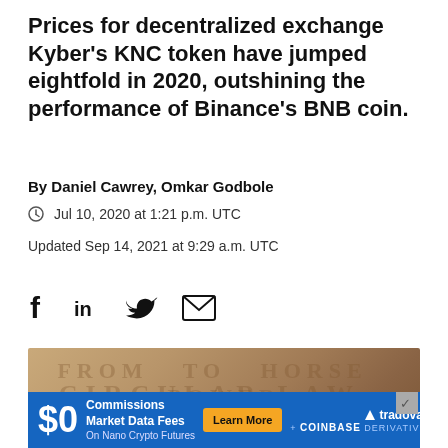Prices for decentralized exchange Kyber's KNC token have jumped eightfold in 2020, outshining the performance of Binance's BNB coin.
By Daniel Cawrey, Omkar Godbole
Jul 10, 2020 at 1:21 p.m. UTC
Updated Sep 14, 2021 at 9:29 a.m. UTC
[Figure (illustration): An old parchment-style background image with circular law or historical text overlay, with an advertisement banner at the bottom for Tradovate and Coinbase Derivatives showing $0 commissions and market data fees on Nano Crypto Futures.]